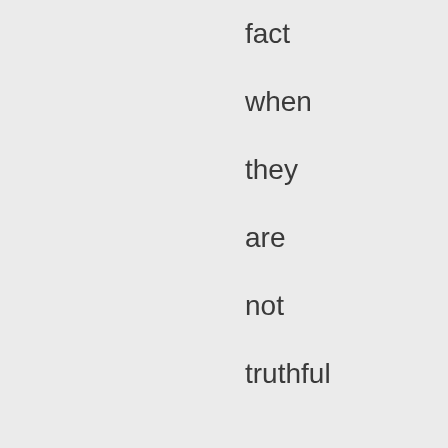no as fact when they are not truthful . Duterte I think at least listens to his advisers